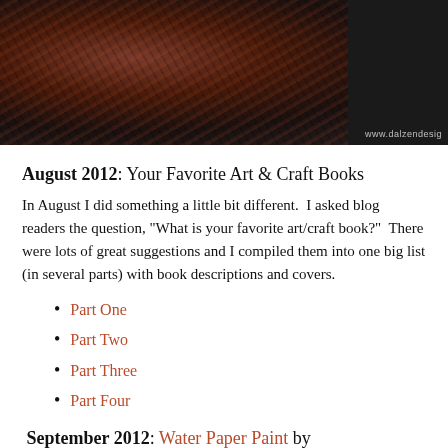[Figure (photo): Close-up macro photo of metallic/textured art materials with dark copper and black tones, with watermark 'www.dalzendesig' in bottom right corner]
August 2012: Your Favorite Art & Craft Books
In August I did something a little bit different. I asked blog readers the question, "What is your favorite art/craft book?" There were lots of great suggestions and I compiled them into one big list (in several parts) with book descriptions and covers.
Part One
Part Two
Part Three
Part Four
September 2012: Water Paper Paint by Heather Smith Jones